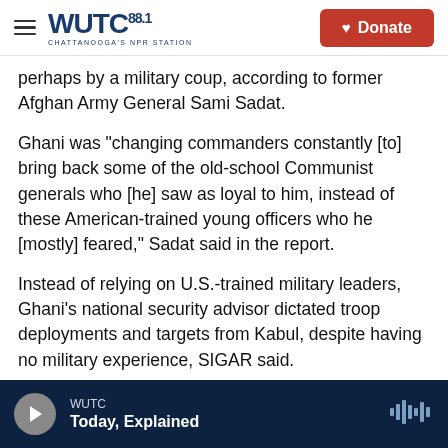WUTC 88.1 Chattanooga's NPR Station | Donate
perhaps by a military coup, according to former Afghan Army General Sami Sadat.
Ghani was "changing commanders constantly [to] bring back some of the old-school Communist generals who [he] saw as loyal to him, instead of these American-trained young officers who he [mostly] feared," Sadat said in the report.
Instead of relying on U.S.-trained military leaders, Ghani's national security advisor dictated troop deployments and targets from Kabul, despite having no military experience, SIGAR said.
WUTC | Today, Explained